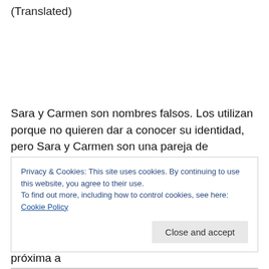(Translated)
Sara y Carmen son nombres falsos. Los utilizan porque no quieren dar a conocer su identidad, pero Sara y Carmen son una pareja de lesbianas mexicanas que llevan juntas más de 30 años. Viven en Tabasco y allí aún continúa sin aprobarse el matrimonio igualitario.
Privacy & Cookies: This site uses cookies. By continuing to use this website, you agree to their use.
To find out more, including how to control cookies, see here: Cookie Policy
defensas que hacen que su vida pueda estar próxima a